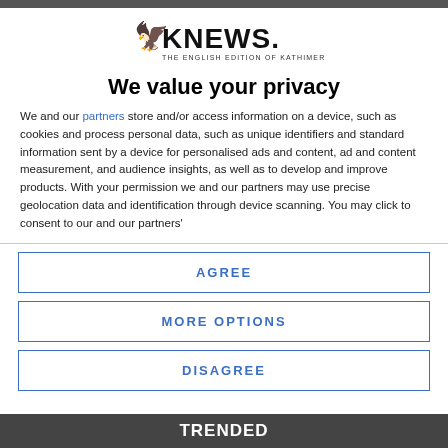[Figure (logo): KNEWS logo - griffin and text, The English Edition of Kathimerini Cyprus]
We value your privacy
We and our partners store and/or access information on a device, such as cookies and process personal data, such as unique identifiers and standard information sent by a device for personalised ads and content, ad and content measurement, and audience insights, as well as to develop and improve products. With your permission we and our partners may use precise geolocation data and identification through device scanning. You may click to consent to our and our partners'
AGREE
MORE OPTIONS
DISAGREE